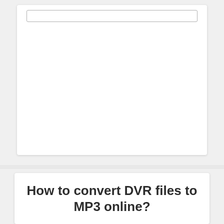[Figure (screenshot): White card panel with a horizontal input/search bar near the top, mostly blank white space below it, on a light gray background.]
How to convert DVR files to MP3 online?